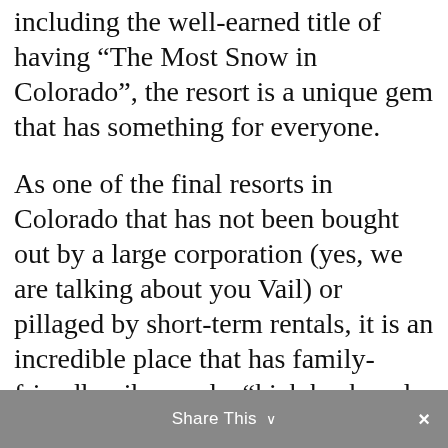including the well-earned title of having “The Most Snow in Colorado”, the resort is a unique gem that has something for everyone.
As one of the final resorts in Colorado that has not been bought out by a large corporation (yes, we are talking about you Vail) or pillaged by short-term rentals, it is an incredible place that has family-friendly vibes and a “kick back and relax” attitude.
Of, and of course, TONS OF SNOW!
Share This ∨  ×